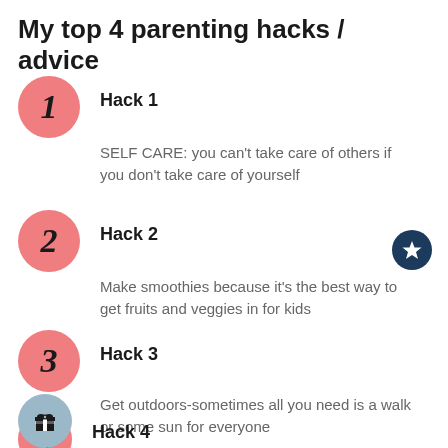My top 4 parenting hacks / advice
Hack 1
SELF CARE: you can't take care of others if you don't take care of yourself
Hack 2
Make smoothies because it's the best way to get fruits and veggies in for kids
Hack 3
Get outdoors-sometimes all you need is a walk or some sun for everyone
Hack 4